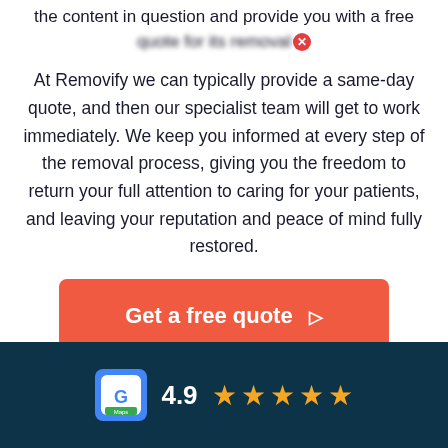the content in question and provide you with a free quote for its removal
At Removify we can typically provide a same-day quote, and then our specialist team will get to work immediately. We keep you informed at every step of the removal process, giving you the freedom to return your full attention to caring for your patients, and leaving your reputation and peace of mind fully restored.
Get a free quote
4.9